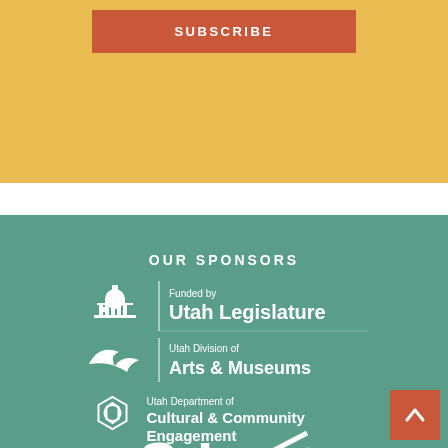[Figure (other): Subscribe button on golden/yellow background]
OUR SPONSORS
[Figure (logo): Funded by Utah Legislature logo (capitol building icon, white on teal)]
[Figure (logo): Utah Division of Arts & Museums logo (eagle icon, white on teal)]
[Figure (logo): Utah Department of Cultural & Community Engagement logo (hexagonal flower icon, white on teal)]
[Figure (logo): Partial SL (Salt Lake) logo with rays, white on teal, cropped at bottom]